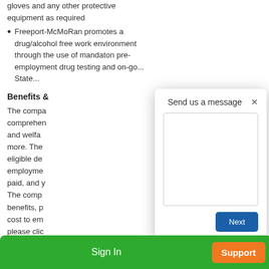gloves and any other protective equipment as required
Freeport-McMoRan promotes a drug/alcohol free work environment through the use of mandatory pre-employment drug testing and on-go... State...
Benefits &...
The compa... comprehen... and welfa... more. Thes... eligible dep... employme... paid, and y... The comp... benefits, p... cost to em... please clic...
Pay Range
[Figure (screenshot): Modal dialog overlay with title 'Send us a message', a large text area input, a close button (X), and a blue 'Next' button in the bottom right.]
Sign In
Support